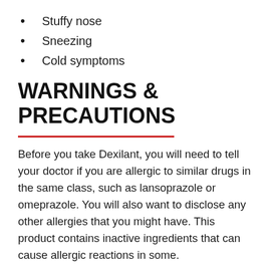Stuffy nose
Sneezing
Cold symptoms
WARNINGS & PRECAUTIONS
Before you take Dexilant, you will need to tell your doctor if you are allergic to similar drugs in the same class, such as lansoprazole or omeprazole. You will also want to disclose any other allergies that you might have. This product contains inactive ingredients that can cause allergic reactions in some.
You will also need to tell your doctor if you have a